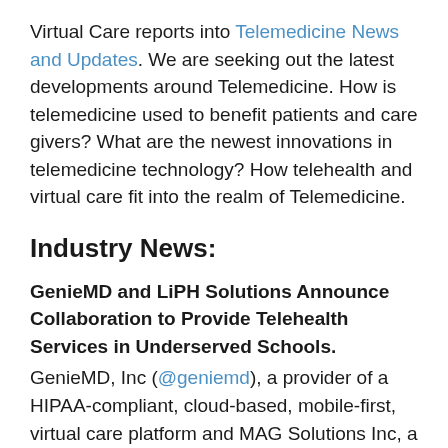Virtual Care reports into Telemedicine News and Updates. We are seeking out the latest developments around Telemedicine. How is telemedicine used to benefit patients and care givers? What are the newest innovations in telemedicine technology? How telehealth and virtual care fit into the realm of Telemedicine.
Industry News:
GenieMD and LiPH Solutions Announce Collaboration to Provide Telehealth Services in Underserved Schools. GenieMD, Inc (@geniemd), a provider of a HIPAA-compliant, cloud-based, mobile-first, virtual care platform and MAG Solutions Inc, a company focused on addressing the needs of disadvantaged people who cannot afford or